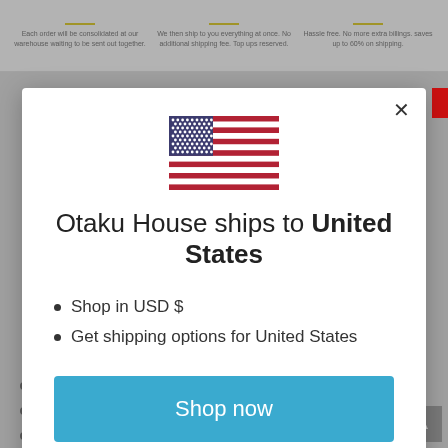[Figure (screenshot): Top banner of e-commerce website with three columns, each with a gold accent line and small descriptive text about order consolidation, shipping, and hassle-free billing.]
[Figure (illustration): US flag SVG illustration centered in the modal dialog.]
Otaku House ships to United States
Shop in USD $
Get shipping options for United States
[Figure (screenshot): Blue 'Shop now' button in modal dialog.]
Change shipping country
Tea pot + cup
Glass
Pump bottle